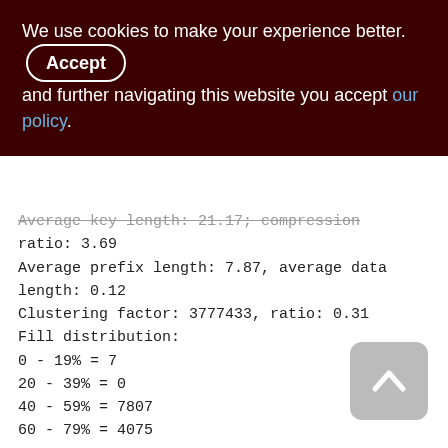We use cookies to make your experience better. By accepting and further navigating this website you accept our policy.
Average key length: 21.17; compression ratio: 3.69
Average prefix length: 7.87, average data length: 0.12
Clustering factor: 3777433, ratio: 0.31
Fill distribution:
0 - 19% = 7
20 - 39% = 0
40 - 59% = 7807
60 - 79% = 4075
80 - 99% = 2004

Index PERF_LOG_GDSCODE (3)